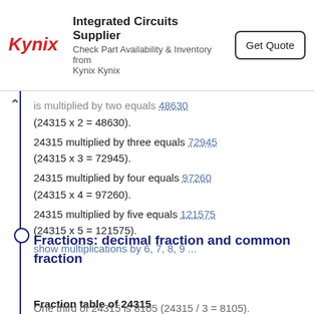[Figure (other): Kynix advertisement banner: logo, 'Integrated Circuits Supplier', 'Check Part Availability & Inventory from Kynix Kynix', and 'Get Quote' button]
is multiplied by two equals 48630 (24315 x 2 = 48630).
24315 multiplied by three equals 72945 (24315 x 3 = 72945).
24315 multiplied by four equals 97260 (24315 x 4 = 97260).
24315 multiplied by five equals 121575 (24315 x 5 = 121575).
show multiplications by 6, 7, 8, 9 ...
Fractions: decimal fraction and common fraction
Fraction table of 24315
Half of 24315 is 12157,5 (24315 / 2 = 12157,5 = 12157 1/2).
One third of 24315 is 8105 (24315 / 3 = 8105).